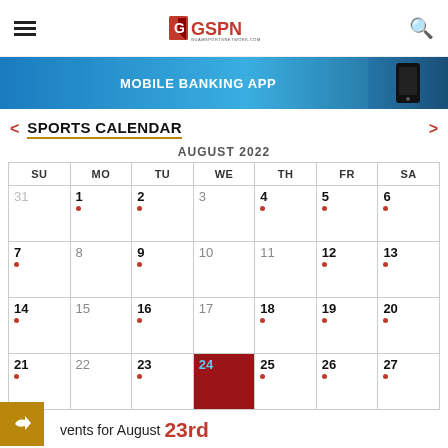GSPN - Guam Sports Network
[Figure (screenshot): Mobile Banking App advertisement banner in blue]
SPORTS CALENDAR
AUGUST 2022
| SU | MO | TU | WE | TH | FR | SA |
| --- | --- | --- | --- | --- | --- | --- |
| 31 | 1 • | 2 • | 3 | 4 • | 5 • | 6 • |
| 7 • | 8 | 9 • | 10 | 11 | 12 • | 13 • |
| 14 • | 15 | 16 • | 17 | 18 • | 19 • | 20 • |
| 21 • | 22 | 23 • | 24 | 25 • | 26 • | 27 • |
Events for August 23rd